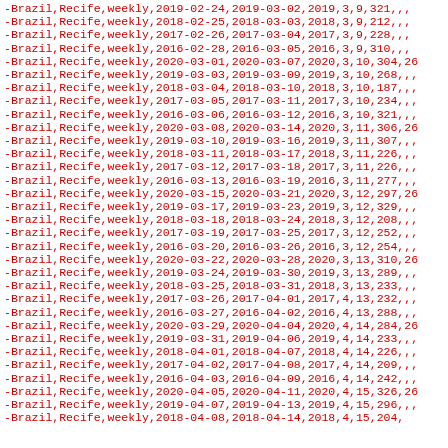-Brazil,Recife,weekly,2019-02-24,2019-03-02,2019,3,9,321,,,
-Brazil,Recife,weekly,2018-02-25,2018-03-03,2018,3,9,212,,,
-Brazil,Recife,weekly,2017-02-26,2017-03-04,2017,3,9,228,,,
-Brazil,Recife,weekly,2016-02-28,2016-03-05,2016,3,9,310,,,
-Brazil,Recife,weekly,2020-03-01,2020-03-07,2020,3,10,304,26
-Brazil,Recife,weekly,2019-03-03,2019-03-09,2019,3,10,268,,,
-Brazil,Recife,weekly,2018-03-04,2018-03-10,2018,3,10,187,,,
-Brazil,Recife,weekly,2017-03-05,2017-03-11,2017,3,10,234,,,
-Brazil,Recife,weekly,2016-03-06,2016-03-12,2016,3,10,321,,,
-Brazil,Recife,weekly,2020-03-08,2020-03-14,2020,3,11,306,26
-Brazil,Recife,weekly,2019-03-10,2019-03-16,2019,3,11,307,,,
-Brazil,Recife,weekly,2018-03-11,2018-03-17,2018,3,11,226,,,
-Brazil,Recife,weekly,2017-03-12,2017-03-18,2017,3,11,226,,,
-Brazil,Recife,weekly,2016-03-13,2016-03-19,2016,3,11,277,,,
-Brazil,Recife,weekly,2020-03-15,2020-03-21,2020,3,12,297,26
-Brazil,Recife,weekly,2019-03-17,2019-03-23,2019,3,12,329,,,
-Brazil,Recife,weekly,2018-03-18,2018-03-24,2018,3,12,208,,,
-Brazil,Recife,weekly,2017-03-19,2017-03-25,2017,3,12,252,,,
-Brazil,Recife,weekly,2016-03-20,2016-03-26,2016,3,12,254,,,
-Brazil,Recife,weekly,2020-03-22,2020-03-28,2020,3,13,310,26
-Brazil,Recife,weekly,2019-03-24,2019-03-30,2019,3,13,289,,,
-Brazil,Recife,weekly,2018-03-25,2018-03-31,2018,3,13,233,,,
-Brazil,Recife,weekly,2017-03-26,2017-04-01,2017,4,13,232,,,
-Brazil,Recife,weekly,2016-03-27,2016-04-02,2016,4,13,288,,,
-Brazil,Recife,weekly,2020-03-29,2020-04-04,2020,4,14,284,26
-Brazil,Recife,weekly,2019-03-31,2019-04-06,2019,4,14,233,,,
-Brazil,Recife,weekly,2018-04-01,2018-04-07,2018,4,14,226,,,
-Brazil,Recife,weekly,2017-04-02,2017-04-08,2017,4,14,209,,,
-Brazil,Recife,weekly,2016-04-03,2016-04-09,2016,4,14,242,,,
-Brazil,Recife,weekly,2020-04-05,2020-04-11,2020,4,15,326,26
-Brazil,Recife,weekly,2019-04-07,2019-04-13,2019,4,15,296,,,
-Brazil,Recife,weekly,2018-04-08,2018-04-14,2018,4,15,204,